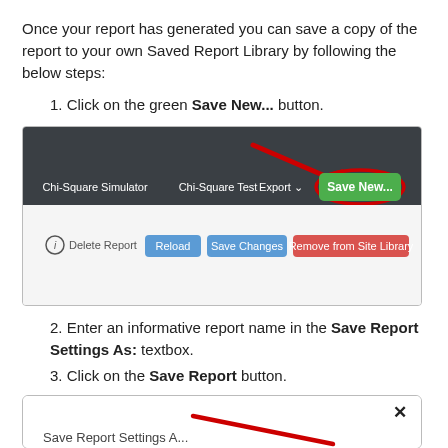Once your report has generated you can save a copy of the report to your own Saved Report Library by following the below steps:
1. Click on the green Save New... button.
[Figure (screenshot): Screenshot of a web application toolbar showing Chi-Square Simulator, Chi-Square Test, Export, and a green Save New... button highlighted with a red circle and red arrow pointing to it. Below are buttons: Delete Report (with info icon), Reload (blue), Save Changes (blue), Remove from Site Library (red).]
2. Enter an informative report name in the Save Report Settings As: textbox.
3. Click on the Save Report button.
[Figure (screenshot): Partial screenshot of a dialog box showing Save Report Settings As with a red arrow and an X close button.]